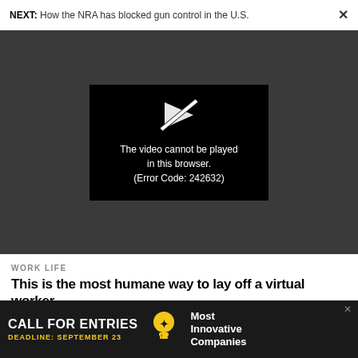NEXT: How the NRA has blocked gun control in the U.S.  ✕
[Figure (screenshot): Video player showing error message: 'The video cannot be played in this browser. (Error Code: 242632)' with a play icon on a black background, set against a dark gray background]
WORK LIFE
This is the most humane way to lay off a virtual worker
WORK LIFE
[Figure (advertisement): Dark advertisement banner reading 'CALL FOR ENTRIES' with 'DEADLINE: SEPTEMBER 23' in yellow, a lightbulb icon, and 'Most Innovative Companies' text]